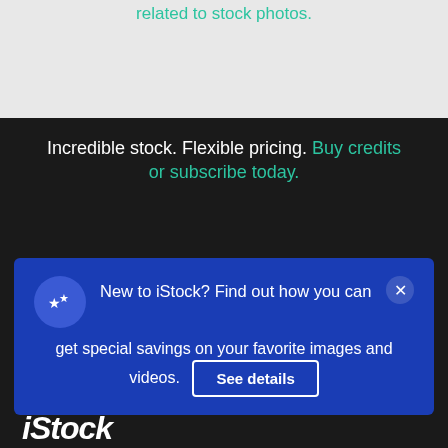related to stock photos.
Incredible stock. Flexible pricing. Buy credits or subscribe today.
New to iStock? Find out how you can get special savings on your favorite images and videos. See details
[Figure (logo): iStock logo in white italic bold text on dark background]
$33 | 3 credits
Continue with purchase